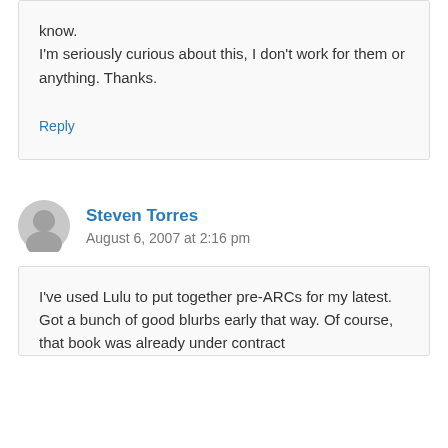know.
I'm seriously curious about this, I don't work for them or anything. Thanks.
Reply
Steven Torres
August 6, 2007 at 2:16 pm
I've used Lulu to put together pre-ARCs for my latest. Got a bunch of good blurbs early that way. Of course, that book was already under contract